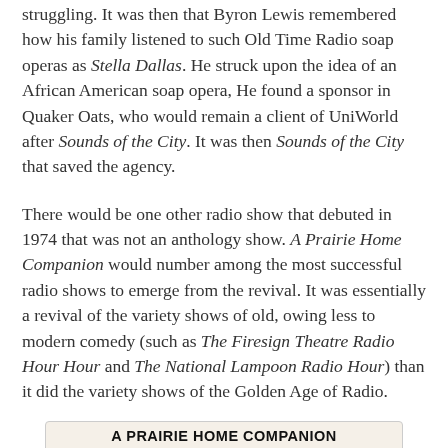struggling. It was then that Byron Lewis remembered how his family listened to such Old Time Radio soap operas as Stella Dallas. He struck upon the idea of an African American soap opera, He found a sponsor in Quaker Oats, who would remain a client of UniWorld after Sounds of the City. It was then Sounds of the City that saved the agency.
There would be one other radio show that debuted in 1974 that was not an anthology show. A Prairie Home Companion would number among the most successful radio shows to emerge from the revival. It was essentially a revival of the variety shows of old, owing less to modern comedy (such as The Firesign Theatre Radio Hour Hour and The National Lampoon Radio Hour) than it did the variety shows of the Golden Age of Radio.
[Figure (photo): Newspaper or promotional grid layout for A Prairie Home Companion, showing title in bold at top and a grid of black-and-white photographs of cast/performers in multiple rows and columns.]